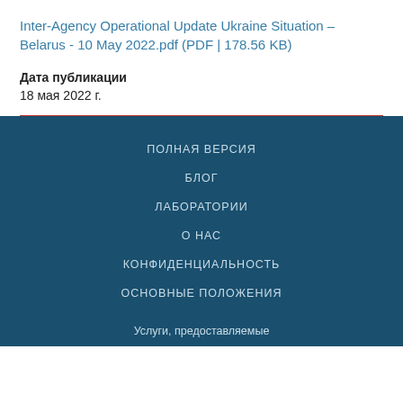Inter-Agency Operational Update Ukraine Situation – Belarus - 10 May 2022.pdf (PDF | 178.56 KB)
Дата публикации
18 мая 2022 г.
ПОЛНАЯ ВЕРСИЯ
БЛОГ
ЛАБОРАТОРИИ
О НАС
КОНФИДЕНЦИАЛЬНОСТЬ
ОСНОВНЫЕ ПОЛОЖЕНИЯ
Услуги, предоставляемые